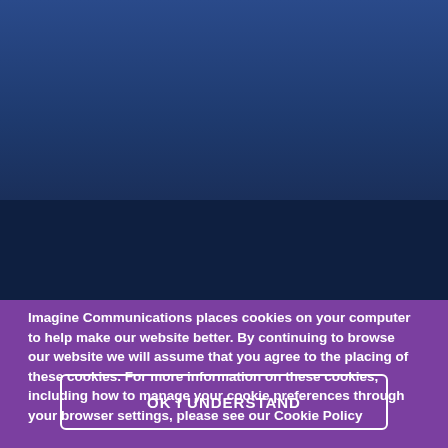[Figure (screenshot): Blue gradient background banner spanning upper half of page, transitioning from medium blue at top to dark navy in lower section]
Imagine Communications places cookies on your computer to help make our website better. By continuing to browse our website we will assume that you agree to the placing of these cookies. For more information on these cookies, including how to manage your cookie preferences through your browser settings, please see our Cookie Policy
OK I UNDERSTAND